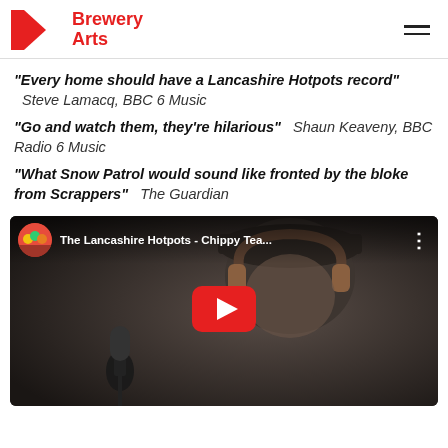Brewery Arts
"Every home should have a Lancashire Hotpots record" Steve Lamacq, BBC 6 Music
"Go and watch them, they’re hilarious" Shaun Keaveny, BBC Radio 6 Music
"What Snow Patrol would sound like fronted by the bloke from Scrappers" The Guardian
[Figure (screenshot): YouTube video embed showing a man at a microphone wearing headphones and a flat cap. Video title: The Lancashire Hotpots - Chippy Tea... with a YouTube channel thumbnail and red play button overlay.]